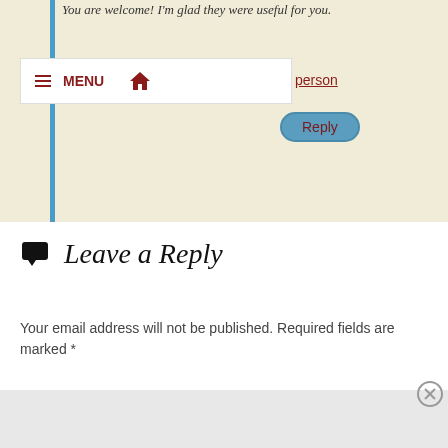You are welcome! I'm glad they were useful for you.
[Figure (screenshot): Navigation bar overlay with hamburger menu icon, MENU text, and home icon]
person
Reply
Leave a Reply
Your email address will not be published. Required fields are marked *
Advertisements
[Figure (screenshot): DuckDuckGo advertisement banner: Search, browse, and email with more privacy. All in One Free App]